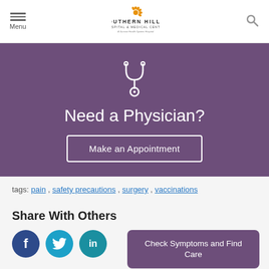Menu | Southern Hills Hospital & Medical Center | Search
[Figure (illustration): Stethoscope icon in white outline on purple background]
Need a Physician?
Make an Appointment
tags: pain , safety precautions , surgery , vaccinations
Share With Others
[Figure (illustration): Social media icons: Facebook (f), Twitter bird, LinkedIn (in)]
Check Symptoms and Find Care